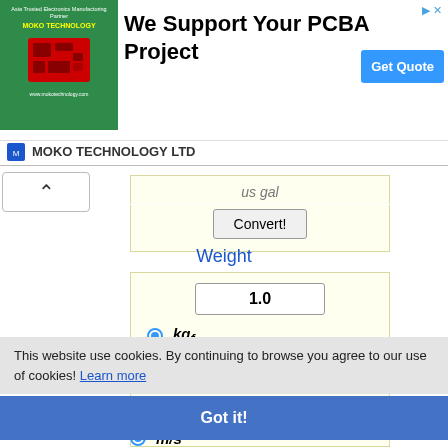[Figure (screenshot): Advertisement banner for MOKO TECHNOLOGY LTD showing PCBA project support with green background, PCB image, and Get Quote button]
MOKO TECHNOLOGY LTD
us gal
Convert!
Weight
1.0
kgf
N
lbf
Convert!
This website use cookies. By continuing to browse you agree to our use of cookies! Learn more
Got it!
m/s